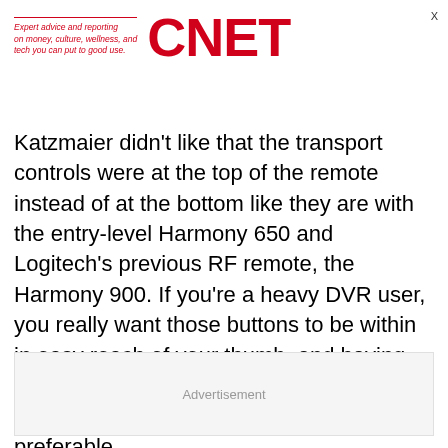Expert advice and reporting on money, culture, wellness, and tech you can put to good use. CNET
Katzmaier didn't like that the transport controls were at the top of the remote instead of at the bottom like they are with the entry-level Harmony 650 and Logitech's previous RF remote, the Harmony 900. If you're a heavy DVR user, you really want those buttons to be within in easy reach of your thumb, and having the transport controls in the middle to bottom third of the remote is definitely preferable.
Advertisement